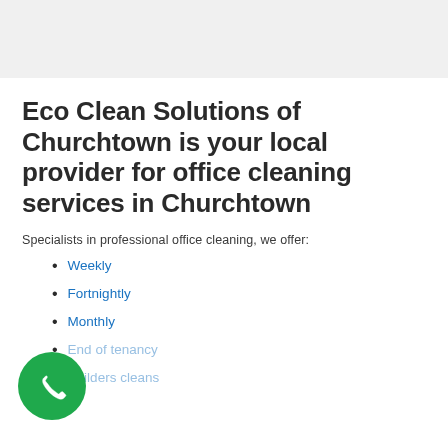[Figure (photo): Light grey hero banner image at the top of the page]
Eco Clean Solutions of Churchtown is your local provider for office cleaning services in Churchtown
Specialists in professional office cleaning, we offer:
Weekly
Fortnightly
Monthly
End of tenancy
Builders cleans
[Figure (illustration): Green circular phone call button in the bottom-left corner]